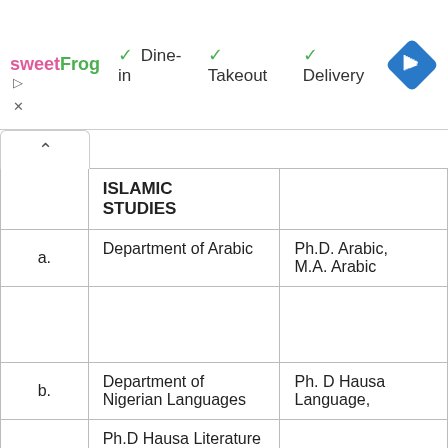[Figure (screenshot): Ad banner showing sweetFrog logo with Dine-in, Takeout, Delivery checkmarks and a blue navigation diamond icon]
|  | Department | Programme |
| --- | --- | --- |
|  | ISLAMIC STUDIES |  |
| a. | Department of Arabic | Ph.D. Arabic, M.A. Arabic |
|  |  |  |
| b. | Department of Nigerian Languages | Ph. D Hausa Language, |
|  | Ph.D Hausa Literature |  |
|  | PhD Hausa... |  |